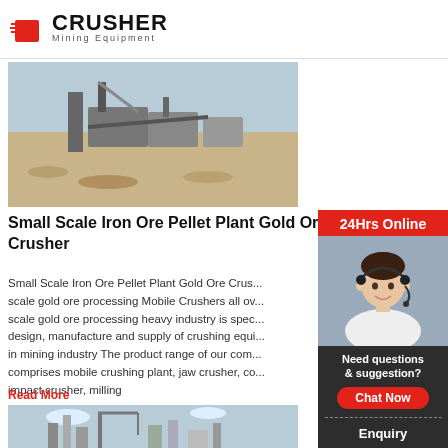[Figure (logo): Crusher Mining Equipment logo with red shopping bag icon and bold black CRUSHER text]
[Figure (photo): Outdoor photo of a mining crusher plant with machinery and gravel landscape]
Small Scale Iron Ore Pellet Plant Gold Ore Crusher
Small Scale Iron Ore Pellet Plant Gold Ore Crus... scale gold ore processing Mobile Crushers all ov... scale gold ore processing heavy industry is spec... design, manufacture and supply of crushing equi... in mining industry The product range of our com... comprises mobile crushing plant, jaw crusher, co... impact crusher, milling
Read More
[Figure (photo): Industrial cement or mining plant with tall structures and cranes against a sky]
[Figure (photo): 24Hrs Online sidebar with customer service representative wearing headset, chat now button, enquiry section, and email limingjlmofen@sina.com]